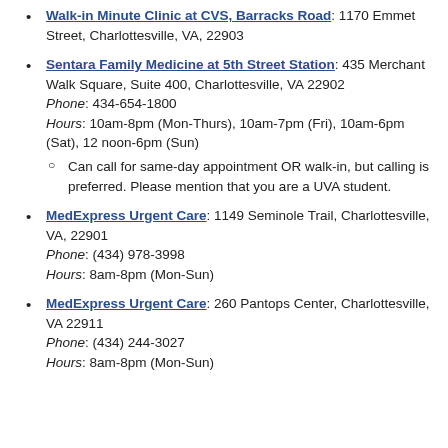Walk-in Minute Clinic at CVS, Barracks Road: 1170 Emmet Street, Charlottesville, VA, 22903
Sentara Family Medicine at 5th Street Station: 435 Merchant Walk Square, Suite 400, Charlottesville, VA 22902 Phone: 434-654-1800 Hours: 10am-8pm (Mon-Thurs), 10am-7pm (Fri), 10am-6pm (Sat), 12 noon-6pm (Sun)
Can call for same-day appointment OR walk-in, but calling is preferred. Please mention that you are a UVA student.
MedExpress Urgent Care: 1149 Seminole Trail, Charlottesville, VA, 22901 Phone: (434) 978-3998 Hours: 8am-8pm (Mon-Sun)
MedExpress Urgent Care: 260 Pantops Center, Charlottesville, VA 22911 Phone: (434) 244-3027 Hours: 8am-8pm (Mon-Sun)